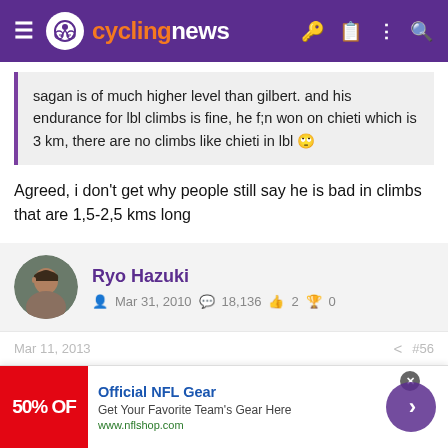cyclingnews
sagan is of much higher level than gilbert. and his endurance for lbl climbs is fine, he f;n won on chieti which is 3 km, there are no climbs like chieti in lbl 🙄
Agreed, i don't get why people still say he is bad in climbs that are 1,5-2,5 kms long
Ryo Hazuki
Mar 31, 2010  18,136  2  0
Mar 11, 2013  #56
Official NFL Gear
Get Your Favorite Team's Gear Here
www.nflshop.com